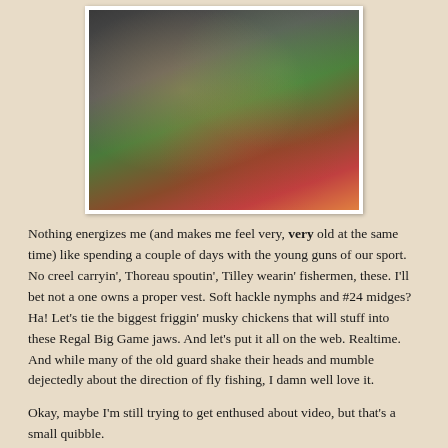[Figure (photo): Two young men at a fly tying table with colorful feathers and materials, tying large flies]
Nothing energizes me (and makes me feel very, very old at the same time) like spending a couple of days with the young guns of our sport. No creel carryin', Thoreau spoutin', Tilley wearin' fishermen, these. I'll bet not a one owns a proper vest. Soft hackle nymphs and #24 midges? Ha! Let's tie the biggest friggin' musky chickens that will stuff into these Regal Big Game jaws. And let's put it all on the web. Realtime. And while many of the old guard shake their heads and mumble dejectedly about the direction of fly fishing, I damn well love it.
Okay, maybe I'm still trying to get enthused about video, but that's a small quibble.
I was reminded of all this as I spent a couple of days in Asheville, hangin' around with the SCOF crew (that's Southern Culture on the Fly, for those of you who've been hiding under a rock) at the Western North Carolina Fly Fishing Expo...